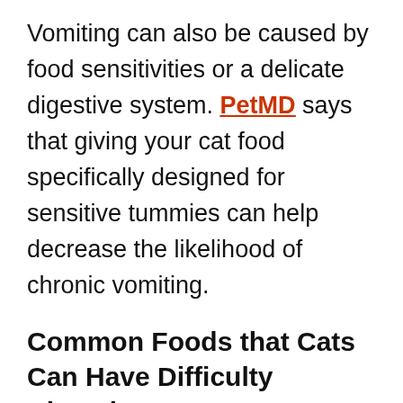Vomiting can also be caused by food sensitivities or a delicate digestive system. PetMD says that giving your cat food specifically designed for sensitive tummies can help decrease the likelihood of chronic vomiting.
Common Foods that Cats Can Have Difficulty Digesting
Dairy containing lactose
Eggs
Fish
Beef